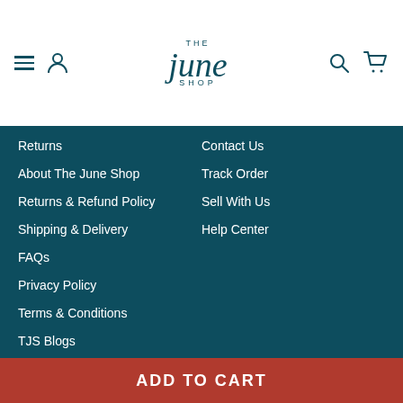The June Shop — navigation header with hamburger menu, profile, logo, search, and cart icons
Returns
About The June Shop
Returns & Refund Policy
Shipping & Delivery
FAQs
Privacy Policy
Terms & Conditions
TJS Blogs
Contact Us
Track Order
Sell With Us
Help Center
Get in touch
+91 86971 11998
Email
Follow us
[Figure (infographic): Social media icons: Instagram, Facebook, YouTube, Twitter, Pinterest]
ADD TO CART